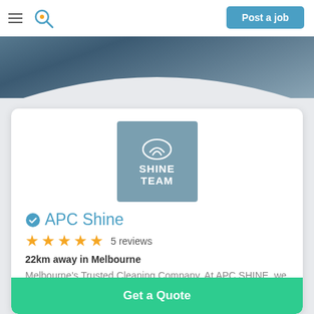Post a job
[Figure (logo): SHINE TEAM logo — grey-blue square background with white text 'SHINE TEAM' and an icon above]
APC Shine
5 reviews
22km away in Melbourne
Melbourne's Trusted Cleaning Company. At APC SHINE, we provide both domestic and commercial c...
Get a Quote